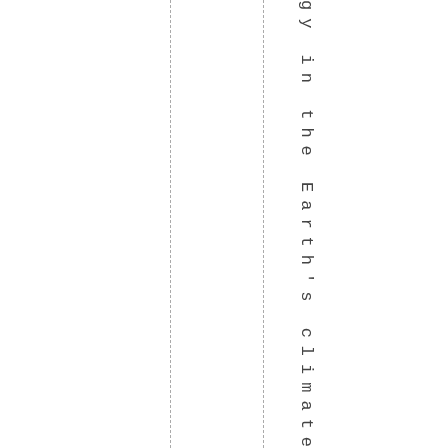gy in the Earth's climate syst